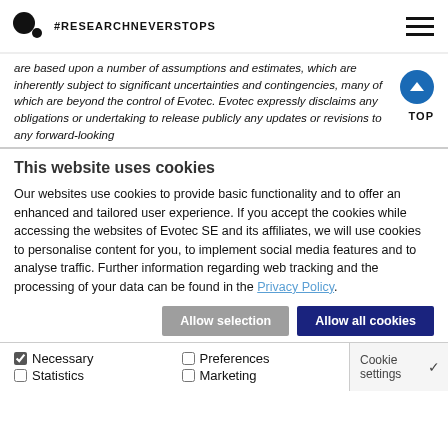#RESEARCHNEVERSTOPS
are based upon a number of assumptions and estimates, which are inherently subject to significant uncertainties and contingencies, many of which are beyond the control of Evotec. Evotec expressly disclaims any obligations or undertaking to release publicly any updates or revisions to any forward-looking
This website uses cookies
Our websites use cookies to provide basic functionality and to offer an enhanced and tailored user experience. If you accept the cookies while accessing the websites of Evotec SE and its affiliates, we will use cookies to personalise content for you, to implement social media features and to analyse traffic. Further information regarding web tracking and the processing of your data can be found in the Privacy Policy.
Allow selection | Allow all cookies
Necessary | Preferences | Statistics | Marketing | Cookie settings